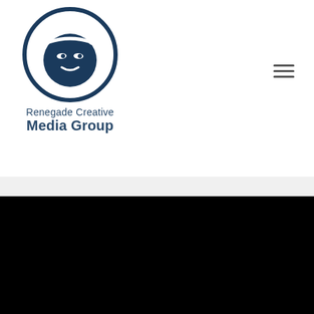[Figure (logo): Renegade Creative Media Group logo: circular icon with ninja-like face character in dark navy blue, above two lines of text: 'Renegade Creative' and 'Media Group' in dark blue.]
Copyright © 2022 Moniek James & Renegade Creative Media Group
[Figure (other): Social media icons row: Facebook, Instagram, Twitter, YouTube, Pinterest, LinkedIn — all in light blue (#5bc8e8) on black background.]